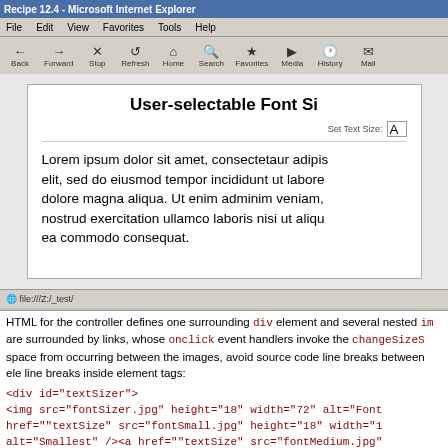[Figure (screenshot): Internet Explorer browser window showing a page titled 'User-selectable Font Si...' with lorem ipsum text and a 'Set Text Size' control]
HTML for the controller defines one surrounding div element and several nested im are surrounded by links, whose onclick event handlers invoke the changeSizeS space from occurring between the images, avoid source code line breaks between ele line breaks inside element tags:
<div id="textSizer">
<img src="fontSizer.jpg" height="18" width="72" alt="Font href="" onclick="changeSizeStyle('smallStyle'); return fa class="textSize" src="fontSmall.jpg" height="18" width="1 alt="Smallest" /><a href="" onclick="changeSizeStyle( class="textSize" src="fontMedium.jpg" height="18" width= href="" onclick="changeSizeStyle('largeStyle'); return fa